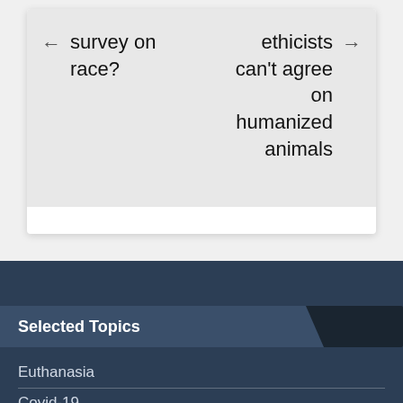← survey on race?
ethicists can't agree on humanized animals →
Selected Topics
Euthanasia
Covid-19